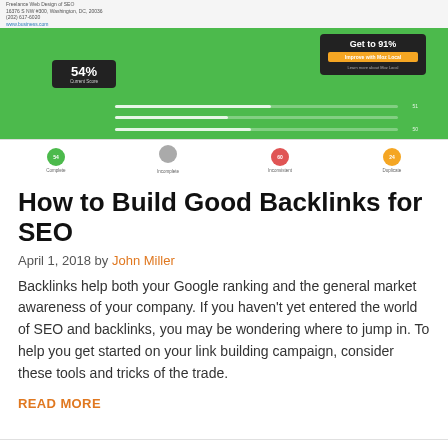[Figure (screenshot): Screenshot of a Moz Local SEO dashboard showing a current score of 54% and a prompt to get to 91%, with status categories at the bottom including Complete, Incomplete, Inconsistent, and Duplicate.]
How to Build Good Backlinks for SEO
April 1, 2018 by John Miller
Backlinks help both your Google ranking and the general market awareness of your company. If you haven't yet entered the world of SEO and backlinks, you may be wondering where to jump in. To help you get started on your link building campaign, consider these tools and tricks of the trade.
READ MORE